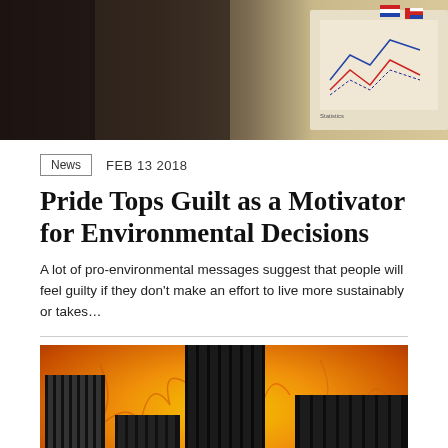[Figure (photo): Top photo showing a person with documents and charts/flags visible]
News  FEB 13 2018
Pride Tops Guilt as a Motivator for Environmental Decisions
A lot of pro-environmental messages suggest that people will feel guilty if they don't make an effort to live more sustainably or takes...
[Figure (illustration): Illustration of black city skyscrapers against an orange and yellow fiery sky background]